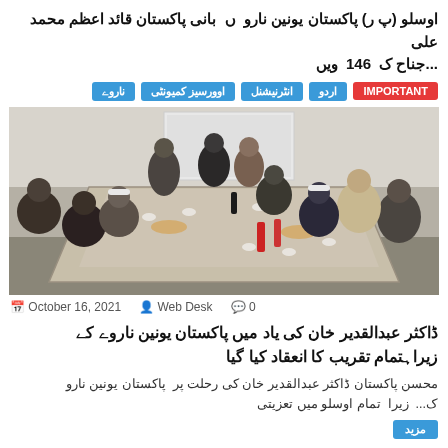اوسلو (پ ر) پاکستان یونین نارو ں بانی پاکستان قائد اعظم محمد علی جناح ک 146 ویں...
ناروے | اوورسیز کمیونٹی | انٹرنیشنل | اردو | IMPORTANT
[Figure (photo): Group of men seated around a long conference table in a meeting room, with food, drinks, and cups on the table. A projection screen is visible in the background.]
October 16, 2021   Web Desk   0
ڈاکثر عبدالقدیر خان کی یاد میں پاکستان یونین ناروے کے زیراہتمام تقریب کا انعقاد کیا گیا
محسن پاکستان ڈاکثر عبدالقدیر خان کی رحلت پر پاکستان یونین نارو ک... زیرا تمام اوسلو میں تعزیتی